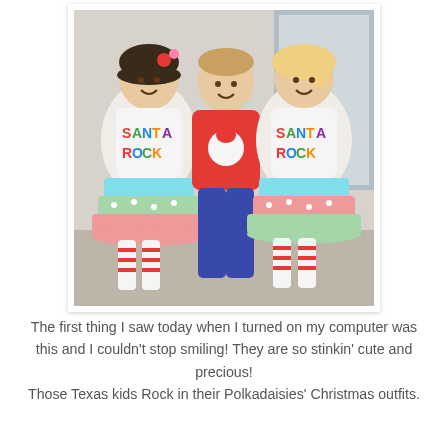[Figure (photo): Three children in Christmas outfits: two girls wearing 'Santa Rocks' applique shirts with colorful ruffled tiered skirts and striped leg warmers, and a boy in a red Santa applique shirt with jeans. The children are smiling and standing together indoors.]
The first thing I saw today when I turned on my computer was this and I couldn't stop smiling! They are so stinkin' cute and precious! Those Texas kids Rock in their Polkadaisies' Christmas outfits.